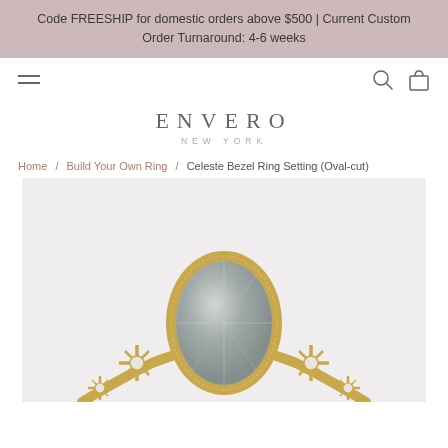Code FREESHIP for domestic orders above $500 | Current Custom Order Turnaround: 4-6 weeks
[Figure (logo): ENVERO NEW YORK brand logo with hamburger menu, search icon, and cart icon in navigation bar]
ENVERO
NEW YORK
Home / Build Your Own Ring / Celeste Bezel Ring Setting (Oval-cut)
[Figure (photo): Close-up photo of Celeste Bezel Ring Setting with an oval-cut pale blue/grey gemstone set in a gold bezel with milgrain detail, flanked by star-shaped accent settings with small diamonds, on a light grey background.]